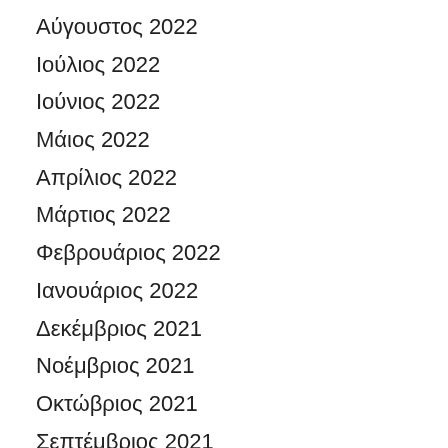Αύγουστος 2022
Ιούλιος 2022
Ιούνιος 2022
Μάιος 2022
Απρίλιος 2022
Μάρτιος 2022
Φεβρουάριος 2022
Ιανουάριος 2022
Δεκέμβριος 2021
Νοέμβριος 2021
Οκτώβριος 2021
Σεπτέμβριος 2021
Αύγουστος 2021
Ιο…